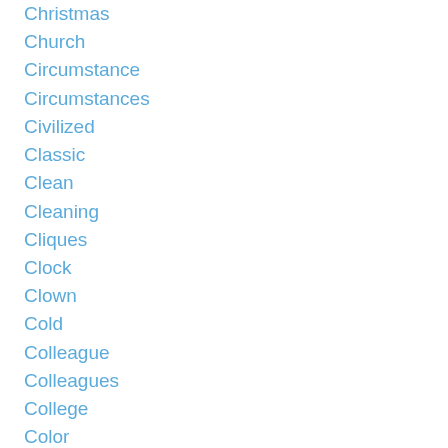Christmas
Church
Circumstance
Circumstances
Civilized
Classic
Clean
Cleaning
Cliques
Clock
Clown
Cold
Colleague
Colleagues
College
Color
Colorado
Colorado Massacare
Colorado River
Combination
Comedy